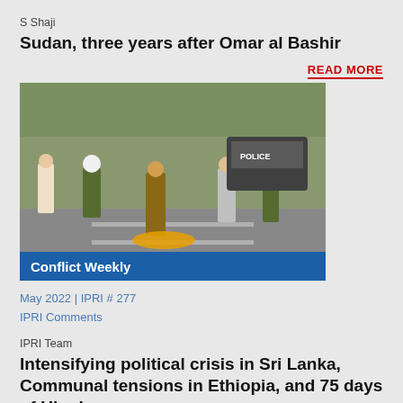S Shaji
Sudan, three years after Omar al Bashir
READ MORE
[Figure (photo): Street scene showing police/security forces and civilians during a conflict or protest, with a label 'Conflict Weekly' at the bottom left]
May 2022 | IPRI # 277
IPRI Comments
IPRI Team
Intensifying political crisis in Sri Lanka, Communal tensions in Ethiopia, and 75 days of Ukraine war
READ MORE
[Figure (photo): Partial photo of a military or security figure, bottom of page]